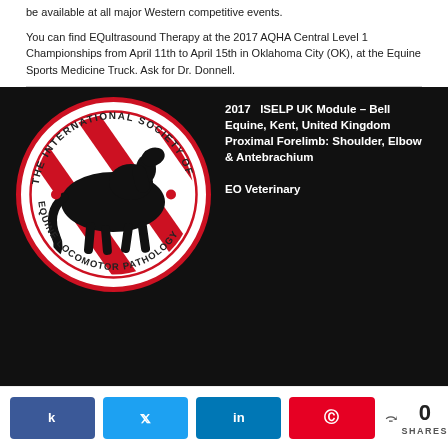be available at all major Western competitive events.
You can find EQultrasound Therapy at the 2017 AQHA Central Level 1 Championships from April 11th to April 15th in Oklahoma City (OK), at the Equine Sports Medicine Truck. Ask for Dr. Donnell.
[Figure (logo): The International Society of Equine Locomotor Pathology circular logo with a horse silhouette and red stripe design]
2017 ISELP UK Module – Bell Equine, Kent, United Kingdom Proximal Forelimb: Shoulder, Elbow & Antebrachium
EO Veterinary
k 0 SHARES